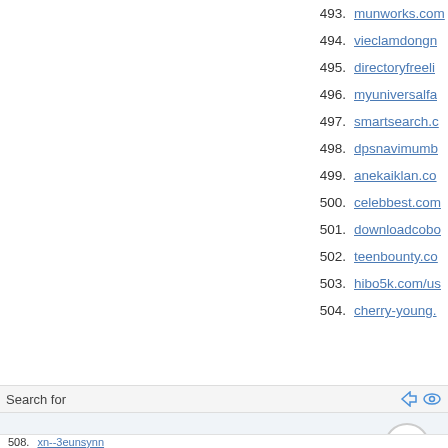493. munworks.com
494. vieclamdongn
495. directoryfreeli
496. myuniversalfa
497. smartsearch.c
498. dpsnavimumb
499. anekaiklan.co
500. celebbest.com
501. downloadcobo
502. teenbounty.co
503. hibo5k.com/us
504. cherry-young.
Search for
1.  Online Video Chat
508. xn--3eunsynn